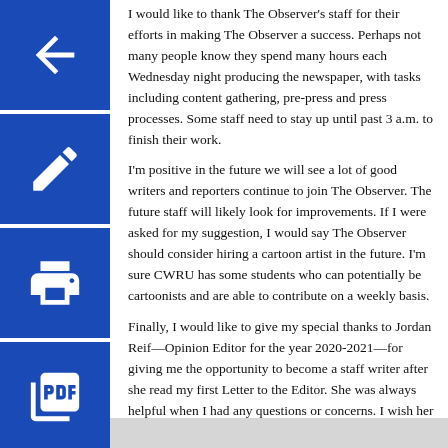[Figure (other): Four blue navigation buttons on the left side: back arrow, edit/pencil, print, and PDF document icons]
I would like to thank The Observer's staff for their efforts in making The Observer a success. Perhaps not many people know they spend many hours each Wednesday night producing the newspaper, with tasks including content gathering, pre-press and press processes. Some staff need to stay up until past 3 a.m. to finish their work.

I'm positive in the future we will see a lot of good writers and reporters continue to join The Observer. The future staff will likely look for improvements. If I were asked for my suggestion, I would say The Observer should consider hiring a cartoon artist in the future. I'm sure CWRU has some students who can potentially be cartoonists and are able to contribute on a weekly basis.

Finally, I would like to give my special thanks to Jordan Reif—Opinion Editor for the year 2020-2021—for giving me the opportunity to become a staff writer after she read my first Letter to the Editor. She was always helpful when I had any questions or concerns. I wish her the best in her future endeavors.

Writing opinion pieces has been a rewarding experience that I'm sure I will cherish for many years to come.